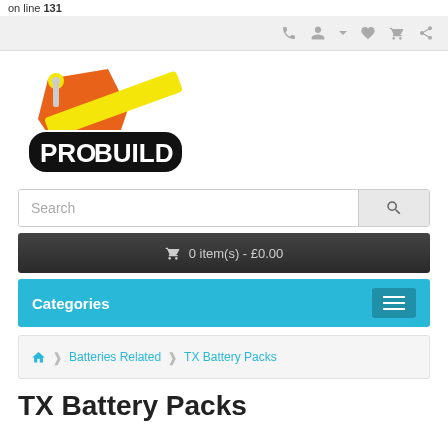on line 131
[Figure (logo): ProBuild logo with hammer and yellow diagonal stripe]
Search
0 item(s) - £0.00
Categories
Batteries Related > TX Battery Packs
TX Battery Packs